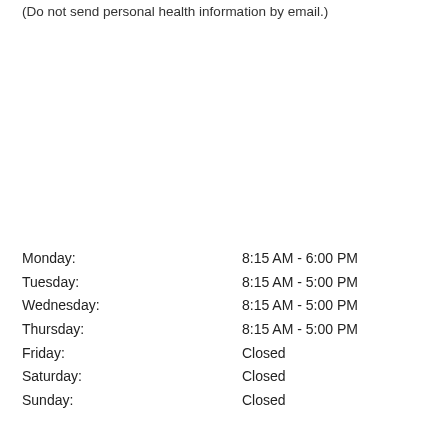(Do not send personal health information by email.)
Monday:    8:15 AM - 6:00 PM
Tuesday:   8:15 AM - 5:00 PM
Wednesday: 8:15 AM - 5:00 PM
Thursday:  8:15 AM - 5:00 PM
Friday:    Closed
Saturday:  Closed
Sunday:    Closed